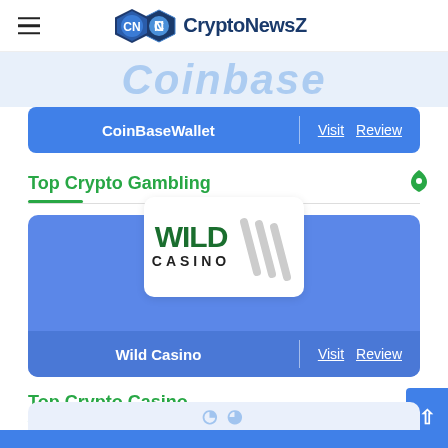CryptoNewsZ
[Figure (logo): Coinbase faded background logo text]
[Figure (illustration): CoinBaseWallet blue action bar with Visit and Review links]
Top Crypto Gambling
[Figure (logo): Wild Casino logo card with blue background, Visit and Review links]
Top Crypto Casino
[Figure (illustration): Partially visible casino card at bottom of page]